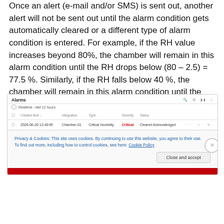Once an alert (e-mail and/or SMS) is sent out, another alert will not be sent out until the alarm condition gets automatically cleared or a different type of alarm condition is entered. For example, if the RH value increases beyond 80%, the chamber will remain in this alarm condition until the RH drops below (80 – 2.5) = 77.5 %. Similarly, if the RH falls below 40 %, the chamber will remain in this alarm condition until the RH rises above (40 + 2.5) = 42.5 %.
[Figure (screenshot): A web UI screenshot showing an 'Alarms' panel with a realtime last 12 hours filter. Table columns: Created time, Integration, Type, Severity, Status. One row shows: 2020-06-20 12:40:05, Chamber-01, Critical Humidity, Critical (in red), Cleared Acknowledged. Below the alarms panel is a cookie consent banner reading: 'Privacy & Cookies: This site uses cookies. By continuing to use this website, you agree to their use. To find out more, including how to control cookies, see here: Cookie Policy'. A 'Close and accept' button appears at the bottom right. A red bar is visible at the very bottom.]